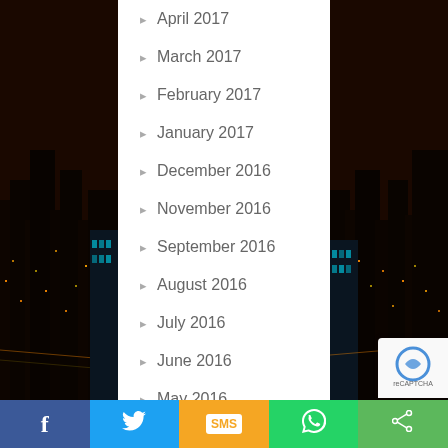April 2017
March 2017
February 2017
January 2017
December 2016
November 2016
September 2016
August 2016
July 2016
June 2016
May 2016
Facebook | Twitter | SMS | WhatsApp | Share